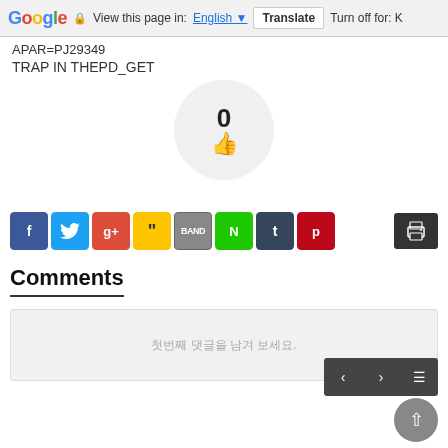Google | View this page in: English | Translate | Turn off for: K
APAR=PJ29349
TRAP IN THEPD_GET
[Figure (other): Like button circle with count 0 and thumbs up icon]
[Figure (other): Social sharing icons: Facebook, Twitter, Google+, Quotation, Band, Naver, Tumblr, Pinterest, and a print button]
Comments
첫번째 댓글을 남겨 보세요.
[Figure (other): Navigation buttons: previous, next, menu, and scroll to top]